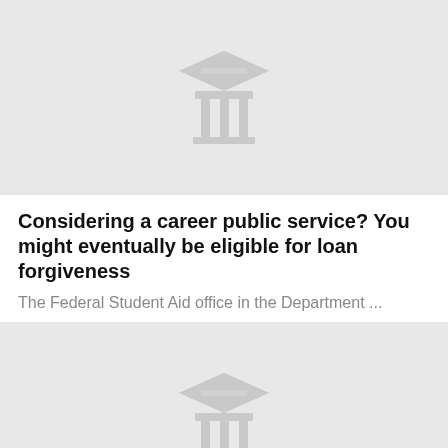[Figure (illustration): Gray placeholder card image with a university/graduation icon (building with columns and graduation cap)]
Considering a career public service? You might eventually be eligible for loan forgiveness
The Federal Student Aid office in the Department ...
[Figure (illustration): Gray placeholder card image with a university/graduation icon (building with columns and graduation cap)]